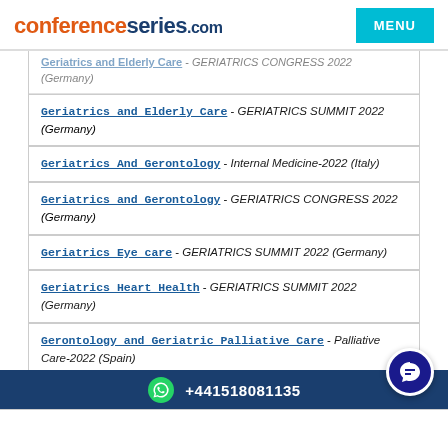conferenceseries.com | MENU
Geriatrics and Elderly Care - GERIATRICS CONGRESS 2022 (Germany)
Geriatrics and Elderly Care - GERIATRICS SUMMIT 2022 (Germany)
Geriatrics And Gerontology - Internal Medicine-2022 (Italy)
Geriatrics and Gerontology - GERIATRICS CONGRESS 2022 (Germany)
Geriatrics Eye care - GERIATRICS SUMMIT 2022 (Germany)
Geriatrics Heart Health - GERIATRICS SUMMIT 2022 (Germany)
Gerontology and Geriatric Palliative Care - Palliative Care-2022 (Spain)
+441518081135